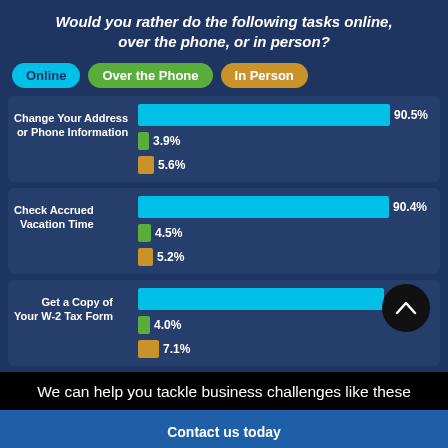Would you rather do the following tasks online, over the phone, or in person?
[Figure (grouped-bar-chart): Would you rather do the following tasks online, over the phone, or in person?]
We can help you tackle business challenges like these
Contact us today